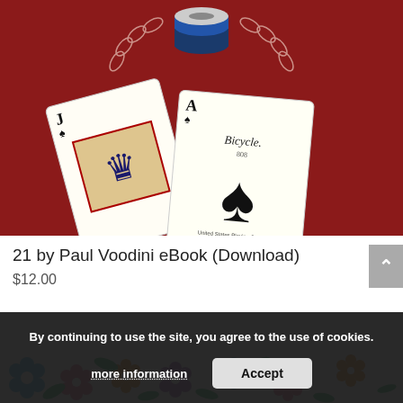[Figure (photo): Photo of playing cards (Jack of Spades and Ace of Spades - Bicycle brand) on a red felt table surface with poker chips in background]
21 by Paul Voodini eBook (Download)
$12.00
By continuing to use the site, you agree to the use of cookies.
more information
Accept
[Figure (photo): Partial view of floral pattern fabric/image at bottom of page with colorful flowers in blue, pink, orange, purple on white background]